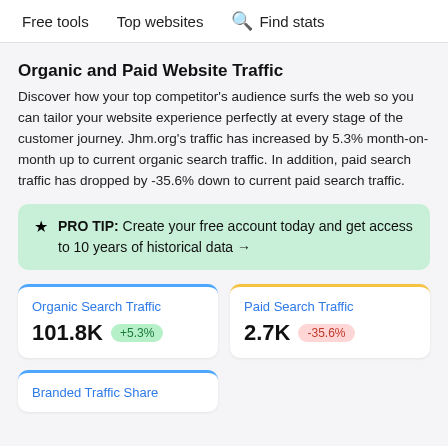Free tools   Top websites   Find stats
Organic and Paid Website Traffic
Discover how your top competitor's audience surfs the web so you can tailor your website experience perfectly at every stage of the customer journey. Jhm.org's traffic has increased by 5.3% month-on-month up to current organic search traffic. In addition, paid search traffic has dropped by -35.6% down to current paid search traffic.
★ PRO TIP: Create your free account today and get access to 10 years of historical data →
Organic Search Traffic
101.8K  +5.3%
Paid Search Traffic
2.7K  -35.6%
Branded Traffic Share